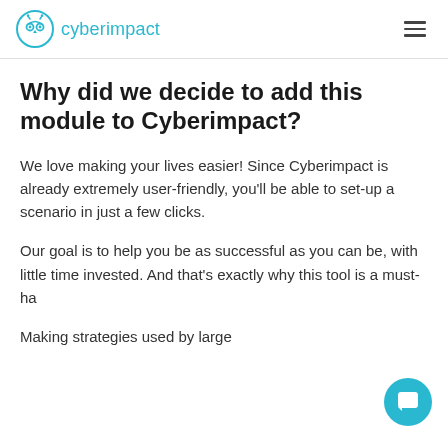cyberimpact
Why did we decide to add this module to Cyberimpact?
We love making your lives easier! Since Cyberimpact is already extremely user-friendly, you'll be able to set-up a scenario in just a few clicks.
Our goal is to help you be as successful as you can be, with little time invested. And that's exactly why this tool is a must-ha…
Making strategies used by large